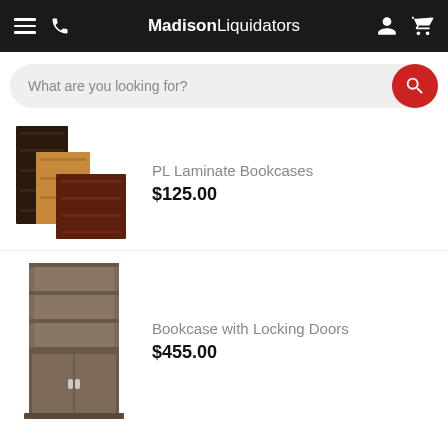MadisonLiquidators
What are you looking for?
[Figure (photo): Three laminate bookcases in dark espresso, medium oak, and dark cherry wood finishes, stacked/overlapping to show product variety]
PL Laminate Bookcases
$125.00
[Figure (photo): A tall bookcase with open shelves on top and a locking door cabinet on the bottom, in walnut/grey wood finish]
Bookcase with Locking Doors
$455.00